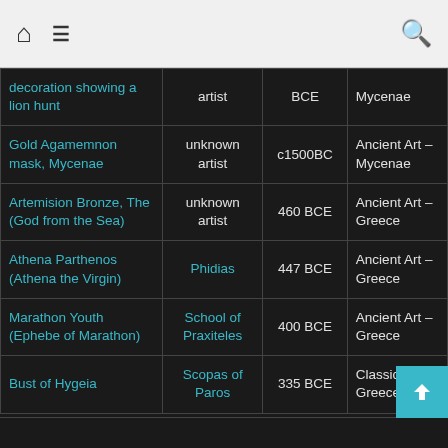Home | Menu | Search
| Artwork | Artist | Date | Category |
| --- | --- | --- | --- |
| decoration showing a lion hunt | artist | BCE | Mycenae |
| Gold Agamemnon mask, Mycenae | unknown artist | c1500BC | Ancient Art – Mycenae |
| Artemision Bronze, The (God from the Sea) | unknown artist | 460 BCE | Ancient Art – Greece |
| Athena Parthenos (Athena the Virgin) | Phidias | 447 BCE | Ancient Art – Greece |
| Marathon Youth (Ephebe of Marathon) | School of Praxiteles | 400 BCE | Ancient Art – Greece |
| Bust of Hygeia | Scopas of Paros | 335 BCE | Classical Greece |